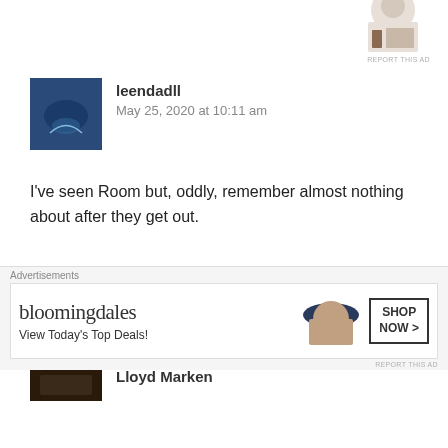[Figure (photo): Partial cropped photo of a person at top right of page, ad image]
REPORT THIS AD
[Figure (photo): User avatar thumbnail for leendadll showing a cocktail/drink in a glass]
leendadll
May 25, 2020 at 10:11 am
I've seen Room but, oddly, remember almost nothing about after they get out.
★ Like
Reply ↓
[Figure (photo): User avatar thumbnail for Lloyd Marken showing a nighttime scene]
Lloyd Marken
Advertisements
[Figure (photo): Bloomingdale's advertisement banner: bloomingdales, View Today's Top Deals!, SHOP NOW >]